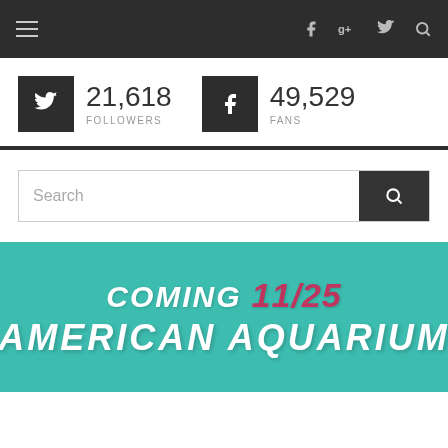[Figure (screenshot): Website navigation bar with hamburger menu icon on the left and social/search icons (Facebook, Google+, Twitter, Search) on the right, dark background]
21,618 FOLLOWERS
49,529 FANS
[Figure (other): Horizontal dark divider line]
Search
[Figure (infographic): Teal banner with text: COMING 11/25 AMERICAN AQUARIUM]